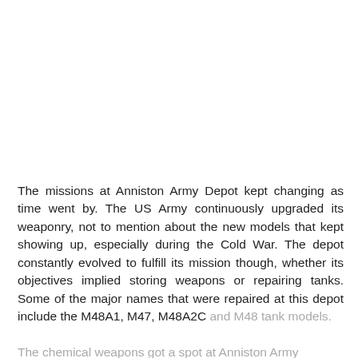The missions at Anniston Army Depot kept changing as time went by. The US Army continuously upgraded its weaponry, not to mention about the new models that kept showing up, especially during the Cold War. The depot constantly evolved to fulfill its mission though, whether its objectives implied storing weapons or repairing tanks. Some of the major names that were repaired at this depot include the M48A1, M47, M48A2C and M48 tank models.
The chemical weapons got a spot at Anniston Army...